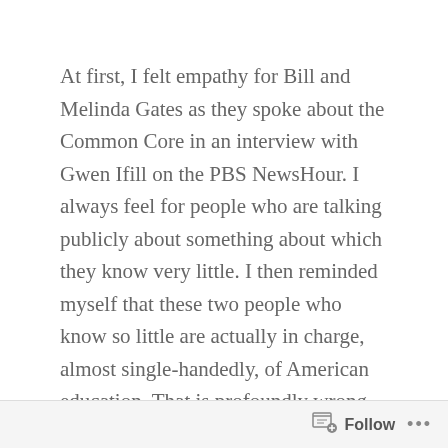At first, I felt empathy for Bill and Melinda Gates as they spoke about the Common Core in an interview with Gwen Ifill on the PBS NewsHour. I always feel for people who are talking publicly about something about which they know very little. I then reminded myself that these two people who know so little are actually in charge, almost single-handedly, of American education. That is profoundly wrong. Children and adolescents are entitled to the best education their society can provide. And in a democracy, it is unconscionable for the wealthy few to decide what that education will be.
Please watch this 9:54 minute interview with Bill
Follow ...